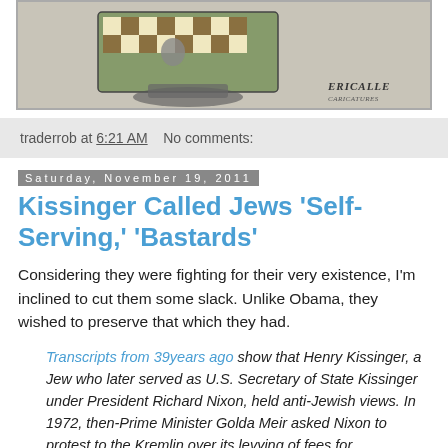[Figure (illustration): Political cartoon with chess board and figures, signed 'ERICALLE' in bottom right]
traderrob at 6:21 AM   No comments:
Saturday, November 19, 2011
Kissinger Called Jews 'Self-Serving,' 'Bastards'
Considering they were fighting for their very existence, I'm inclined to cut them some slack. Unlike Obama, they wished to preserve that which they had.
Transcripts from 39years ago show that Henry Kissinger, a Jew who later served as U.S. Secretary of State Kissinger under President Richard Nixon, held anti-Jewish views. In 1972, then-Prime Minister Golda Meir asked Nixon to protest to the Kremlin over its levying of fees for